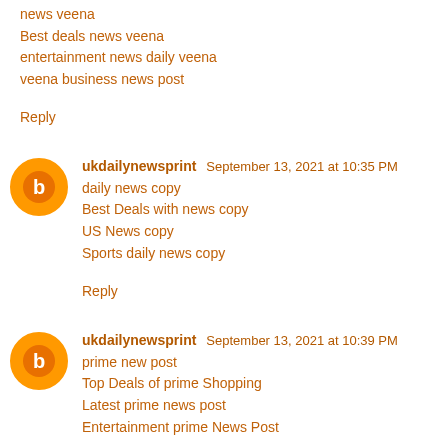Best deals news veena
entertainment news daily veena
veena business news post
Reply
ukdailynewsprint  September 13, 2021 at 10:35 PM
daily news copy
Best Deals with news copy
US News copy
Sports daily news copy
Reply
ukdailynewsprint  September 13, 2021 at 10:39 PM
prime new post
Top Deals of prime Shopping
Latest prime news post
Entertainment prime News Post
Reply